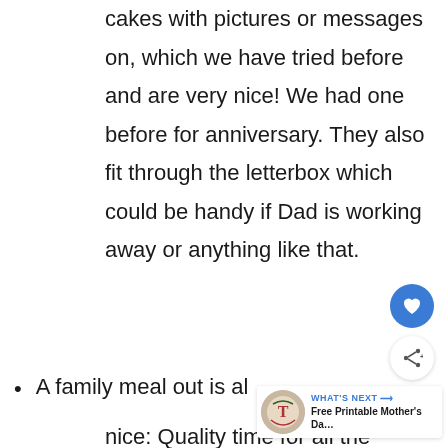cakes with pictures or messages on, which we have tried before and are very nice! We had one before for anniversary. They also fit through the letterbox which could be handy if Dad is working away or anything like that.
A family meal out is al… nice: Quality time for all the…